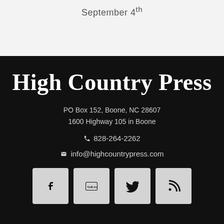September 4th
High Country Press
PO Box 152, Boone, NC 28607
1600 Highway 105 in Boone
828-264-2262
info@highcountrypress.com
[Figure (other): Social media icons: Facebook, YouTube, Twitter, RSS feed]